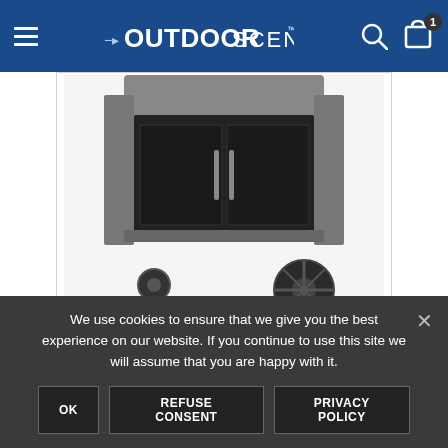OutdoorScene - navigation bar
[Figure (photo): Weber Genesis II EP-335 gas grill product photo showing lower cabinet section with black doors and wheels on a white background]
Weber Genesis II EP-335
€1,550.00 €1,449.00
We use cookies to ensure that we give you the best experience on our website. If you continue to use this site we will assume that you are happy with it.
OK   REFUSE CONSENT   PRIVACY POLICY